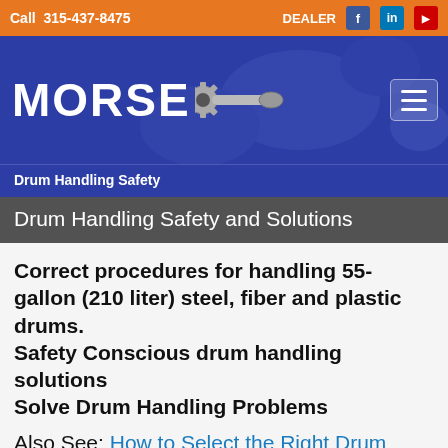Call 315-437-8475   DEALER
[Figure (logo): MORSE logo with gear/wrench icon on blue background header]
Drum Handling Safety
Drum Handling Safety and Solutions
Correct procedures for handling 55-gallon (210 liter) steel, fiber and plastic drums.
Safety Conscious drum handling solutions
Solve Drum Handling Problems
Also See: How to Select the Right Drum Handler